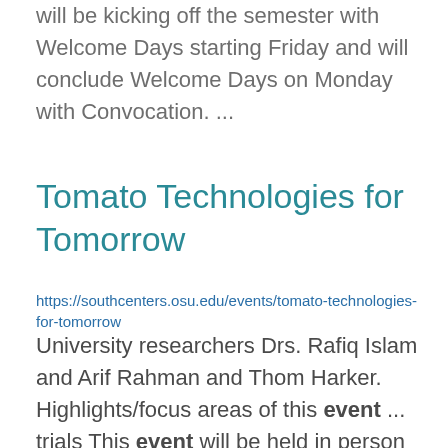will be kicking off the semester with Welcome Days starting Friday and will conclude Welcome Days on Monday with Convocation. ...
Tomato Technologies for Tomorrow
https://southcenters.osu.edu/events/tomato-technologies-for-tomorrow
University researchers Drs. Rafiq Islam and Arif Rahman and Thom Harker. Highlights/focus areas of this event ... trials This event will be held in person at The Ohio State University South Centers in Piketon, Ohio. ... Thanks to the generous